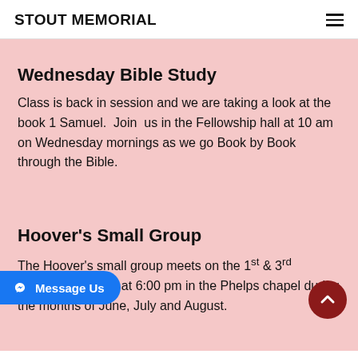STOUT MEMORIAL
Wednesday Bible Study
Class is back in session and we are taking a look at the book 1 Samuel.  Join  us in the Fellowship hall at 10 am on Wednesday mornings as we go Book by Book through the Bible.
Hoover's Small Group
The Hoover's small group meets on the 1st & 3rd Monday evenings at 6:00 pm in the Phelps chapel during the months of June, July and August.